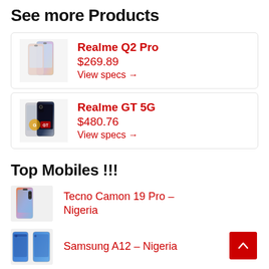See more Products
Realme Q2 Pro
$269.89
View specs →
Realme GT 5G
$480.76
View specs →
Top Mobiles !!!
Tecno Camon 19 Pro – Nigeria
Samsung A12 – Nigeria
Infinix Smart 5 – Nigeria